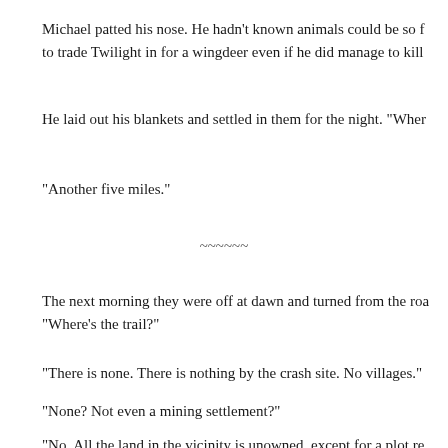Michael patted his nose. He hadn't known animals could be so f to trade Twilight in for a wingdeer even if he did manage to kill
He laid out his blankets and settled in them for the night. "Wher
"Another five miles."
~~~~~~
The next morning they were off at dawn and turned from the roa "Where's the trail?"
"There is none. There is nothing by the crash site. No villages."
"None? Not even a mining settlement?"
"No. All the land in the vicinity is unowned, except for a plot re